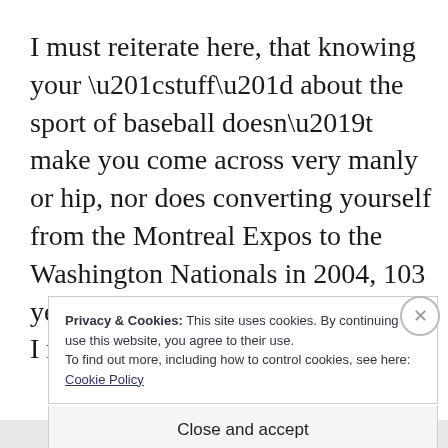I must reiterate here, that knowing your “stuff” about the sport of baseball doesn’t make you come across very manly or hip, nor does converting yourself from the Montreal Expos to the Washington Nationals in 2004, 103 years after Walgreens was founded, I might add, and
Privacy & Cookies: This site uses cookies. By continuing to use this website, you agree to their use.
To find out more, including how to control cookies, see here: Cookie Policy
Close and accept